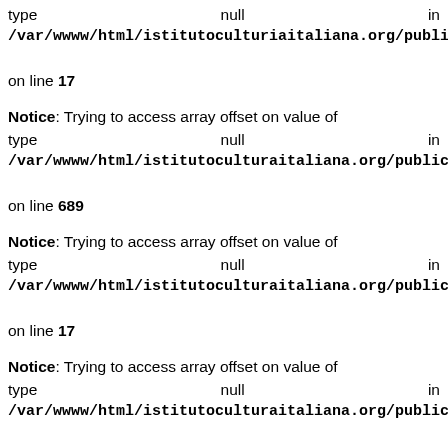type null in /var/www/html/istitutoculturaitliana.org/public_html/f... on line 17
Notice: Trying to access array offset on value of type null in /var/www/html/istitutoculturaitliana.org/public_html/n... on line 689
Notice: Trying to access array offset on value of type null in /var/www/html/istitutoculturaitliana.org/public_html/f... on line 17
Notice: Trying to access array offset on value of type null in /var/www/html/istitutoculturaitliana.org/public_html/n... on line 689